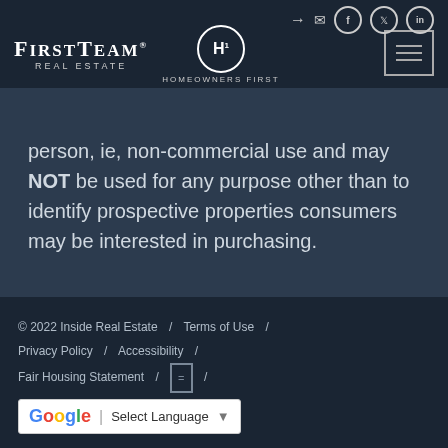FirstTeam Real Estate / Homeowners First header with navigation icons
person, ie, non-commercial use and may NOT be used for any purpose other than to identify prospective properties consumers may be interested in purchasing.
© 2022 Inside Real Estate / Terms of Use / Privacy Policy / Accessibility / Fair Housing Statement / [Fair Housing Logo] / Google Translate - Select Language